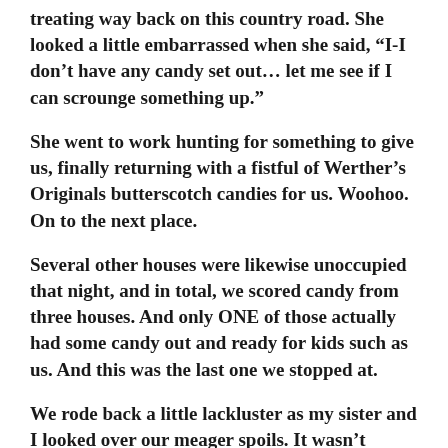treating way back on this country road. She looked a little embarrassed when she said, “I-I don’t have any candy set out… let me see if I can scrounge something up.”
She went to work hunting for something to give us, finally returning with a fistful of Werther’s Originals butterscotch candies for us. Woohoo. On to the next place.
Several other houses were likewise unoccupied that night, and in total, we scored candy from three houses. And only ONE of those actually had some candy out and ready for kids such as us. And this was the last one we stopped at.
We rode back a little lackluster as my sister and I looked over our meager spoils. It wasn’t much. Hardly